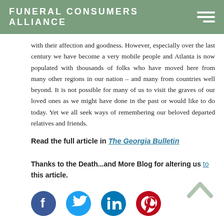FUNERAL CONSUMERS ALLIANCE
with their affection and goodness. However, especially over the last century we have become a very mobile people and Atlanta is now populated with thousands of folks who have moved here from many other regions in our nation – and many from countries well beyond. It is not possible for many of us to visit the graves of our loved ones as we might have done in the past or would like to do today. Yet we all seek ways of remembering our beloved departed relatives and friends.
Read the full article in The Georgia Bulletin
Thanks to the Death...and More Blog for altering us to this article.
[Figure (other): Social media icons: Facebook, Twitter, LinkedIn, Pinterest]